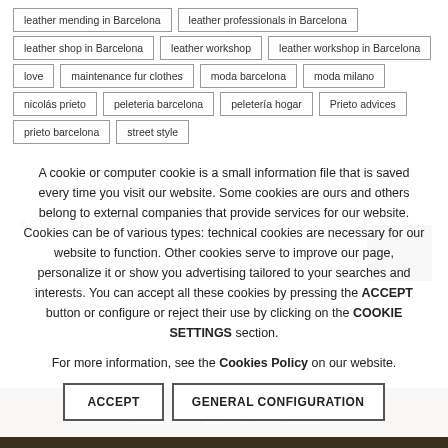leather mending in Barcelona
leather professionals in Barcelona
leather shop in Barcelona
leather workshop
leather workshop in Barcelona
love
maintenance fur clothes
moda barcelona
moda milano
nicolás prieto
peleteria barcelona
peletería hogar
Prieto advices
prieto barcelona
street style
BUSCADOR
A cookie or computer cookie is a small information file that is saved every time you visit our website. Some cookies are ours and others belong to external companies that provide services for our website. Cookies can be of various types: technical cookies are necessary for our website to function. Other cookies serve to improve our page, personalize it or show you advertising tailored to your searches and interests. You can accept all these cookies by pressing the ACCEPT button or configure or reject their use by clicking on the COOKIE SETTINGS section. For more information, see the Cookies Policy on our website.
ACCEPT
GENERAL CONFIGURATION
Facebook   Instagram   Youtube